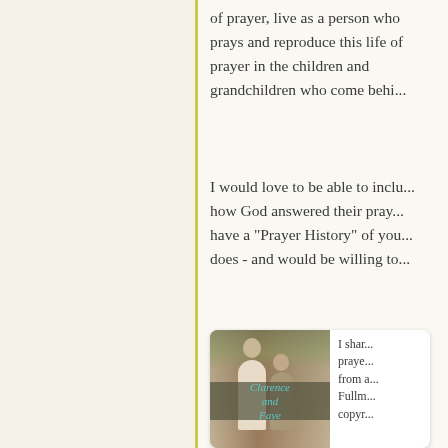of prayer, live as a person who prays and reproduce this life of prayer in the children and grandchildren who come behi...
I would love to be able to inclu... how God answered their pray... have a "Prayer History" of you... does - and would be willing to...
[Figure (photo): Book cover showing a vintage sepia-tone photograph of a couple (man and woman) standing outdoors with trees in background. A banner overlay reads 'Clarence and Faye' in teal/turquoise italic script.]
I shar... praye... from a... Fullm... copyr...